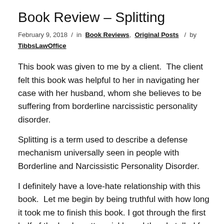Book Review – Splitting
February 9, 2018 / in Book Reviews, Original Posts / by TibbsLawOffice
This book was given to me by a client.  The client felt this book was helpful to her in navigating her case with her husband, whom she believes to be suffering from borderline narcissistic personality disorder.
Splitting is a term used to describe a defense mechanism universally seen in people with Borderline and Narcissistic Personality Disorder.
I definitely have a love-hate relationship with this book.  Let me begin by being truthful with how long it took me to finish this book. I got through the first half of the book pretty quickly and then I stalled for approximately six months (maybe longer) before